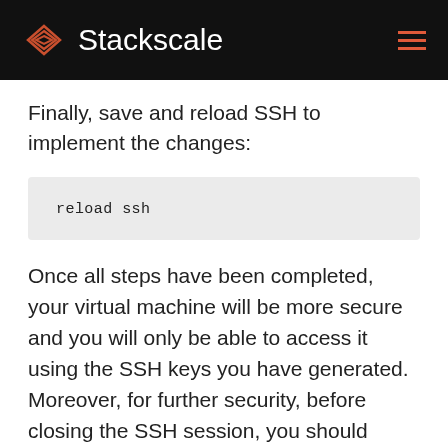Stackscale
Finally, save and reload SSH to implement the changes:
reload ssh
Once all steps have been completed, your virtual machine will be more secure and you will only be able to access it using the SSH keys you have generated. Moreover, for further security, before closing the SSH session, you should check the connection